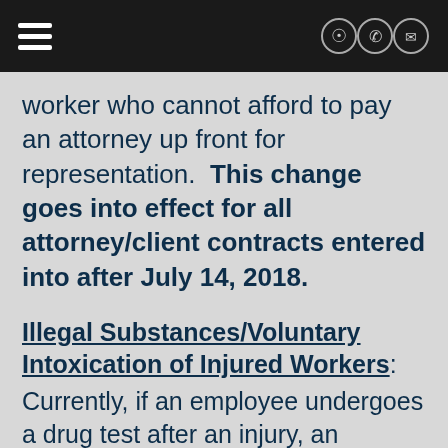[hamburger menu] [location, phone, email icons]
worker who cannot afford to pay an attorney up front for representation.  This change goes into effect for all attorney/client contracts entered into after July 14, 2018.
Illegal Substances/Voluntary Intoxication of Injured Workers:
Currently, if an employee undergoes a drug test after an injury, an employer must prove that the use of